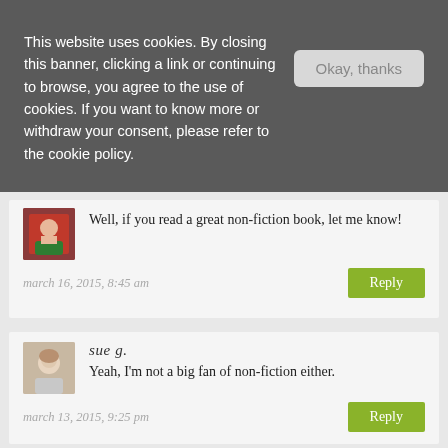This website uses cookies. By closing this banner, clicking a link or continuing to browse, you agree to the use of cookies. If you want to know more or withdraw your consent, please refer to the cookie policy.
Well, if you read a great non-fiction book, let me know!
march 16, 2015, 8:45 am
sue g.
Yeah, I'm not a big fan of non-fiction either.
march 13, 2015, 9:25 pm